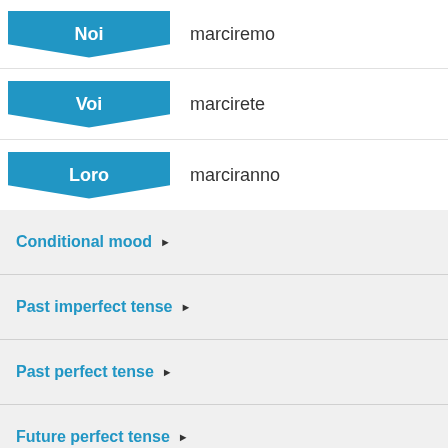| Pronoun | Verb form |
| --- | --- |
| Noi | marciremo |
| Voi | marcirete |
| Loro | marciranno |
Conditional mood ▶
Past imperfect tense ▶
Past perfect tense ▶
Future perfect tense ▶
Present subjunctive tense ▶
Present perfect subjunctive tense ▶
Imperative mood ▶